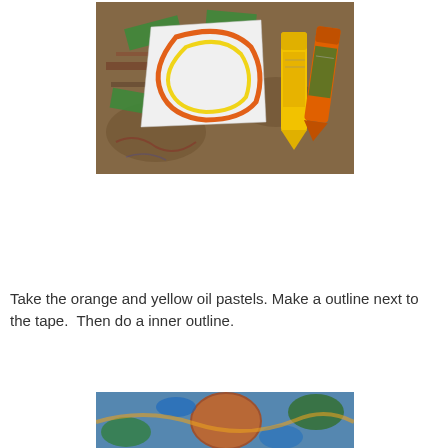[Figure (photo): A photo of an art project on a worn wooden surface: a white paper with orange and yellow oil pastel outlines, held down with green tape, next to two crayons (yellow and orange/red).]
Take the orange and yellow oil pastels. Make a outline next to the tape.  Then do a inner outline.
[Figure (photo): A partial photo at the bottom showing colorful artwork with blue, orange, and green oil pastel colors.]